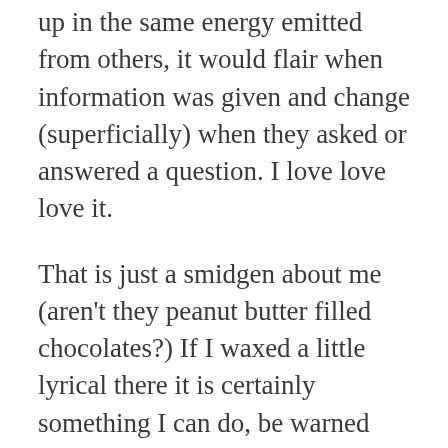up in the same energy emitted from others, it would flair when information was given and change (superficially) when they asked or answered a question. I love love love it.
That is just a smidgen about me (aren't they peanut butter filled chocolates?) If I waxed a little lyrical there it is certainly something I can do, be warned though, I am not your friend or your mother, so any consultation will include my professional skills which allow me to go to bat on behalf of your inner voice which must be heard if you are in a conflicted moment or lifestyle.  If you